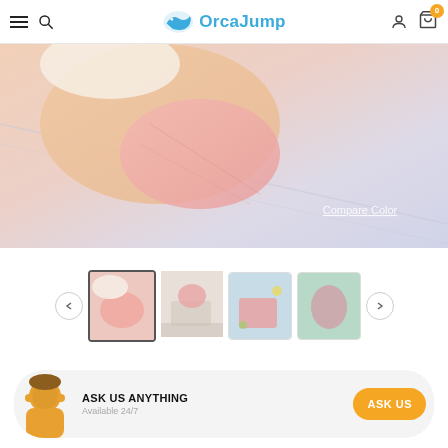OrcaJump — navigation header with hamburger menu, search icon, logo, user icon, cart (0)
[Figure (photo): Close-up product photo of a pink exfoliating bath glove/mitt being used on skin, with pastel pink and cream tones and a 'Compare Color' text overlay]
[Figure (photo): Thumbnail 1: Pink bath glove in use on skin (active/selected)]
[Figure (photo): Thumbnail 2: Pink bath glove product near a sink]
[Figure (photo): Thumbnail 3: Pink bath glove laid flat on blue background with accessories]
[Figure (photo): Thumbnail 4: Pink bath glove on green background]
ASK US ANYTHING
Available 24/7
ASK US